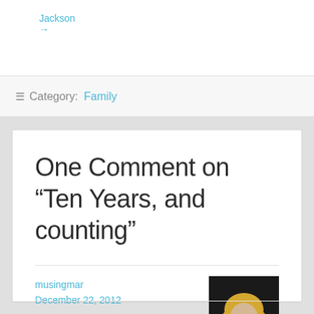Jackson →
Category: Family
One Comment on “Ten Years, and counting”
musingmar
December 22, 2012
[Figure (photo): Portrait photo of a blonde woman with glasses, smiling, wearing a white top, against a dark background.]
Congratulations you two, and here’s to many more happy years together!